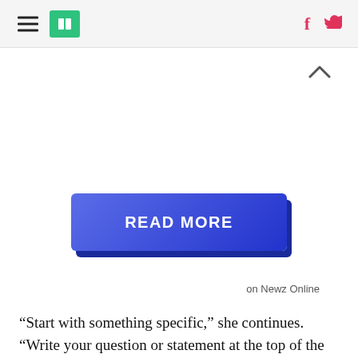HuffPost navigation with hamburger menu, logo, Facebook and Twitter icons
[Figure (other): A blue 3D-style READ MORE button with shadow]
on Newz Online
“Start with something specific,” she continues. “Write your question or statement at the top of the